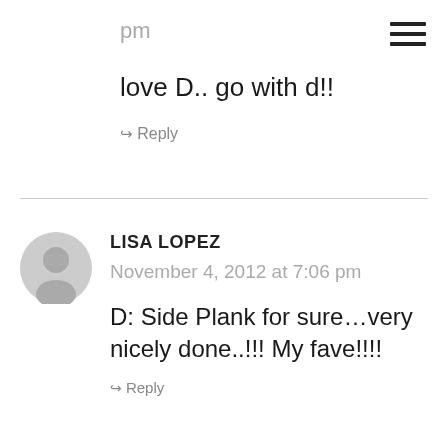pm
love D.. go with d!!
↪ Reply
LISA LOPEZ
November 4, 2012 at 7:06 pm
D: Side Plank for sure…very nicely done..!!! My fave!!!!
↪ Reply